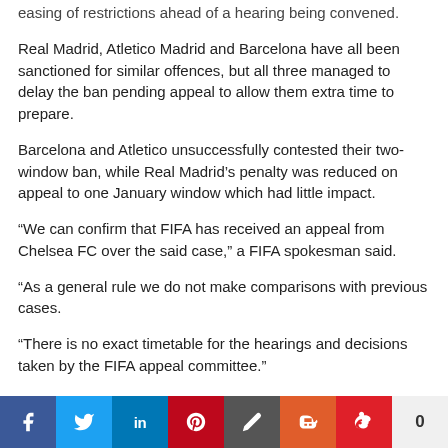easing of restrictions ahead of a hearing being convened.
Real Madrid, Atletico Madrid and Barcelona have all been sanctioned for similar offences, but all three managed to delay the ban pending appeal to allow them extra time to prepare.
Barcelona and Atletico unsuccessfully contested their two-window ban, while Real Madrid’s penalty was reduced on appeal to one January window which had little impact.
“We can confirm that FIFA has received an appeal from Chelsea FC over the said case,” a FIFA spokesman said.
“As a general rule we do not make comparisons with previous cases.
“There is no exact timetable for the hearings and decisions taken by the FIFA appeal committee.”
The ability to recruit new players this summer is pivotal for Chelsea with doubts over Eden Hazard’s future at the club with little progress made on extending the Belgian’s contract beyond 2020, while strike Gonzalo Higuain is only on loan from Juventus until the end of the season.
FIFA probed Chelsea’s signing of foreign under-18 players, including the club’s former forward Bertrand Traore, a Burkina Faso international, as they do not have Foundation of origin…